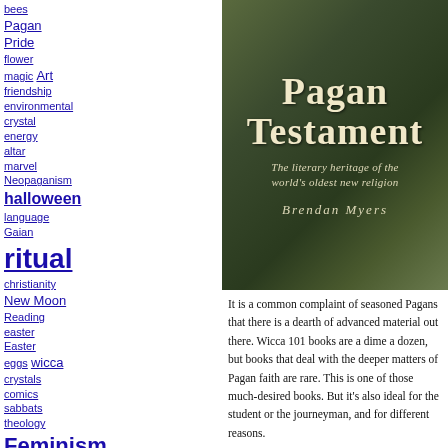bees
Pagan Pride
flower
magic Art
friendship
environmental
crystal
energy
altar
marvel
Neopaganism
halloween
language
Gaian
ritual
christianity
New Moon
Reading
easter
Easter
eggs wicca
crystals
comics
sabbats
theology
Feminism
healing
ritual
Underworld
Midsummer
herbalwicca
herbs new moon
food full moon ritual
[Figure (illustration): Book cover of 'Pagan Testament: The literary heritage of the world's oldest new religion' by Brendan Myers, with dark green leaf background]
It is a common complaint of seasoned Pagans that there is a dearth of advanced material out there. Wicca 101 books are a dime a dozen, but books that deal with the deeper matters of Pagan faith are rare. This is one of those much-desired books. But it's also ideal for the student or the journeyman, and for different reasons.
Canadian Pagan author Brendan Myers is a